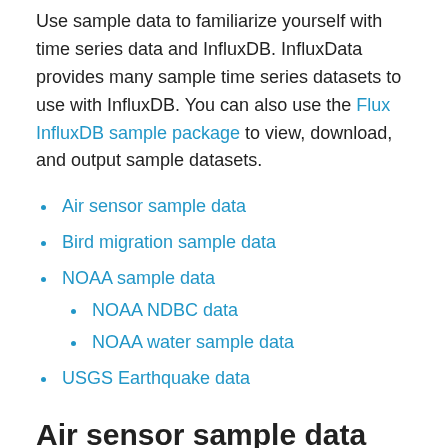Use sample data to familiarize yourself with time series data and InfluxDB. InfluxData provides many sample time series datasets to use with InfluxDB. You can also use the Flux InfluxDB sample package to view, download, and output sample datasets.
Air sensor sample data
Bird migration sample data
NOAA sample data
NOAA NDBC data
NOAA water sample data
USGS Earthquake data
Air sensor sample data